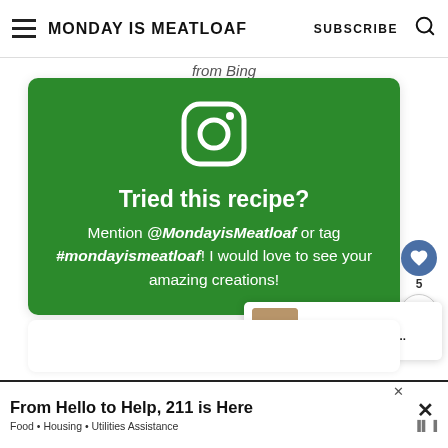MONDAY IS MEATLOAF | SUBSCRIBE
from Bing
[Figure (infographic): Green Instagram CTA box with Instagram logo icon. Text reads: Tried this recipe? Mention @MondayisMeatloaf or tag #mondayismeatloaf! I would love to see your amazing creations!]
WHAT'S NEXT → Easy Blackstone...
[Figure (photo): Small thumbnail image of a food item (hot dog or sandwich) for Easy Blackstone recipe]
[Figure (infographic): Advertisement banner: From Hello to Help, 211 is Here. Food • Housing • Utilities Assistance]